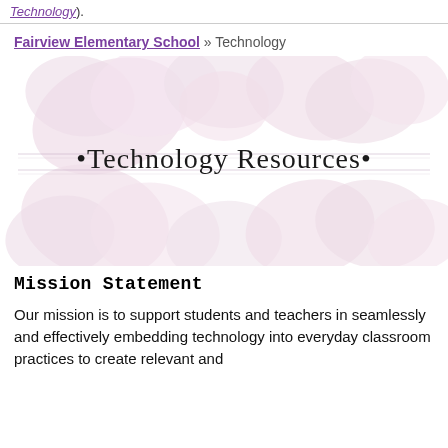Technology).
Fairview Elementary School » Technology
[Figure (illustration): Decorative banner image with pale pink floral (blossom/petal) background and text '•Technology Resources•' in an ornate serif/display font centered horizontally, with thin horizontal lines flanking the text.]
Mission Statement
Our mission is to support students and teachers in seamlessly and effectively embedding technology into everyday classroom practices to create relevant and